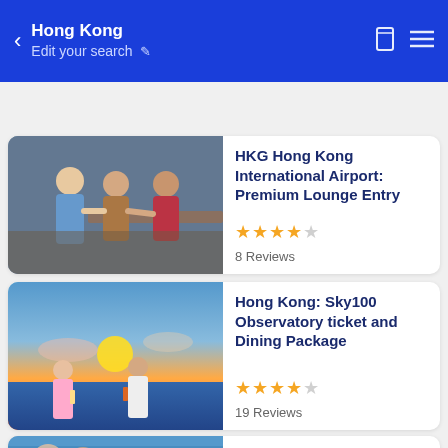Hong Kong / Edit your search
Explore Hong Kong | Flights to Hong Kong | Stay in Hong Kong
HKG Hong Kong International Airport: Premium Lounge Entry
★★★★☆ 8 Reviews
Hong Kong: Sky100 Observatory ticket and Dining Package
★★★★☆ 19 Reviews